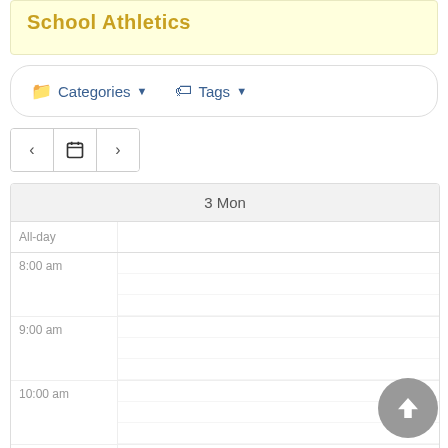School Athletics
[Figure (screenshot): Filter bar with Categories and Tags dropdown buttons]
[Figure (screenshot): Navigation bar with back arrow, calendar icon, and forward arrow]
| Time | Events |
| --- | --- |
| All-day |  |
| 8:00 am |  |
| 9:00 am |  |
| 10:00 am |  |
| 11:00 am |  |
| 12:00 pm |  |